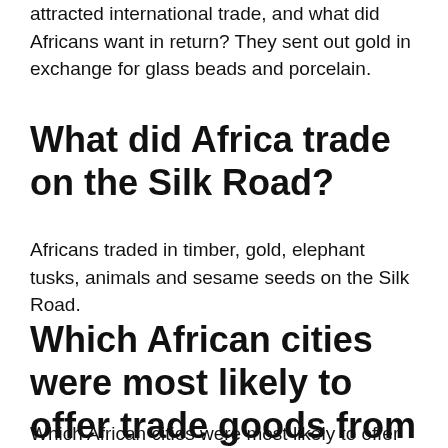What were the products of Africa that attracted international trade, and what did Africans want in return? They sent out gold in exchange for glass beads and porcelain.
What did Africa trade on the Silk Road?
Africans traded in timber, gold, elephant tusks, animals and sesame seeds on the Silk Road.
Which African cities were most likely to offer trade goods from Central Africa?
Which African cities were most likely to offer trade goods from Central Africa?